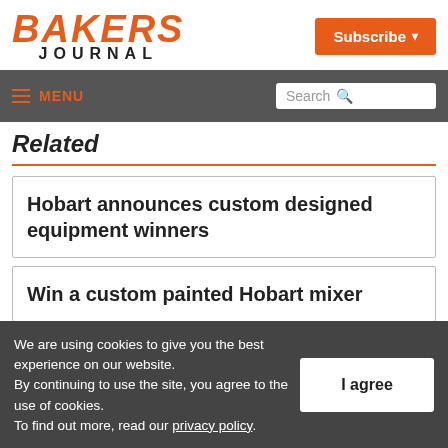BAKERS JOURNAL
Subscribe
≡ MENU | Search
Related
Hobart announces custom designed equipment winners
Win a custom painted Hobart mixer
We are using cookies to give you the best experience on our website. By continuing to use the site, you agree to the use of cookies. To find out more, read our privacy policy.